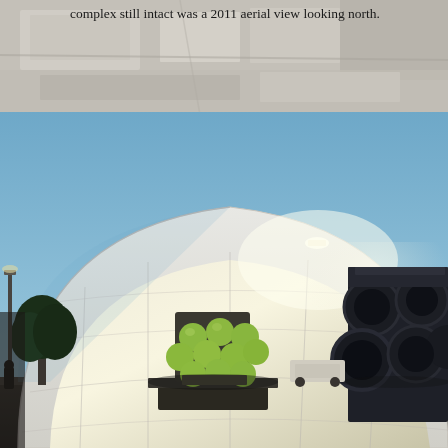complex still intact was a 2011 aerial view looking north.
[Figure (photo): Aerial view of a complex, partial image visible at top of page, muted tones showing rooftops and structures from above, looking north, 2011.]
[Figure (photo): Ground-level dusk/evening photograph of a large white arched fabric hangar structure with interior lighting. Inside the hangar are two large rocket engine assemblies — one with multiple green-painted cylindrical combustion chambers clustered together in the center, and a larger dark-colored multi-nozzle engine cluster on the right side. A tree is visible on the left outside the hangar, and a person stands at the far left edge.]